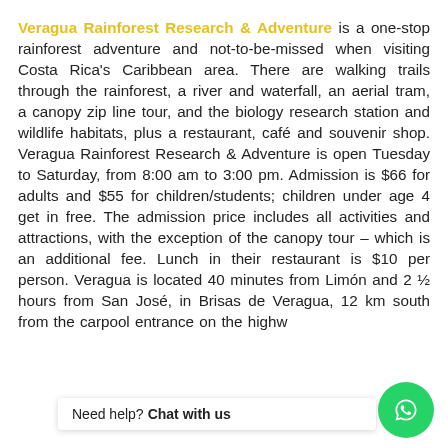Veragua Rainforest Research & Adventure is a one-stop rainforest adventure and not-to-be-missed when visiting Costa Rica's Caribbean area. There are walking trails through the rainforest, a river and waterfall, an aerial tram, a canopy zip line tour, and the biology research station and wildlife habitats, plus a restaurant, café and souvenir shop. Veragua Rainforest Research & Adventure is open Tuesday to Saturday, from 8:00 am to 3:00 pm. Admission is $66 for adults and $55 for children/students; children under age 4 get in free. The admission price includes all activities and attractions, with the exception of the canopy tour – which is an additional fee. Lunch in their restaurant is $10 per person. Veragua is located 40 minutes from Limón and 2 ½ hours from San José, in Brisas de Veragua, 12 km south from the carpool entrance on the highway...